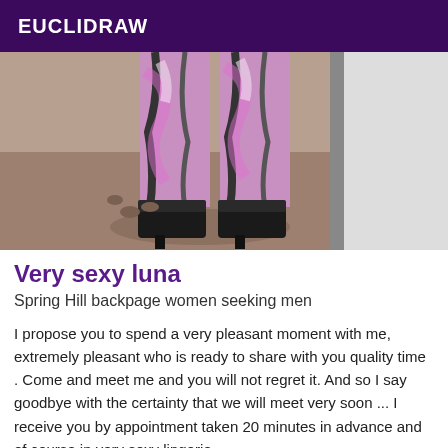EUCLIDRAW
[Figure (photo): Photo showing legs of a person wearing pink/purple tie-dye leggings and black high-heeled ankle boots, standing on a sandy/dirt surface outdoors.]
Very sexy luna
Spring Hill backpage women seeking men
I propose you to spend a very pleasant moment with me, extremely pleasant who is ready to share with you quality time . Come and meet me and you will not regret it. And so I say goodbye with the certainty that we will meet very soon ... I receive you by appointment taken 20 minutes in advance and of course in very sexy lingerie.